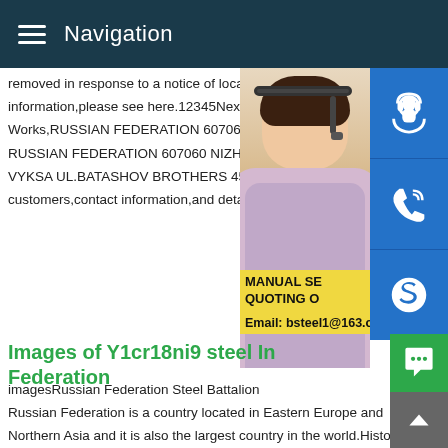Navigation
removed in response to a notice of local la information,please see here.12345NextJso Works,RUSSIAN FEDERATION 607060 J RUSSIAN FEDERATION 607060 NIZHEG VYKSA UL.BATASHOV BROTHERS 45.F customers,contact information,and details
Images of Y1cr18ni9 steel In Federation
[Figure (photo): Woman with headset customer service representative photo, with blue icon buttons for support, phone, and Skype on the right side. Yellow overlay with MANUAL SE... and QUOTING O... text. Email: bsteel1@163.com]
imagesRussian Federation Steel Battalion Russian Federation is a country located in Eastern Europe and Northern Asia and it is also the largest country in the world.History Edit.After the fall of the Soviet Union in December 1991 and th end of the Cold War,Boris Yeltsin installed a new government t govern Russia known as the Russian Federation.Images of St 500 Steel In Russian Federation imagesSteel Billets company